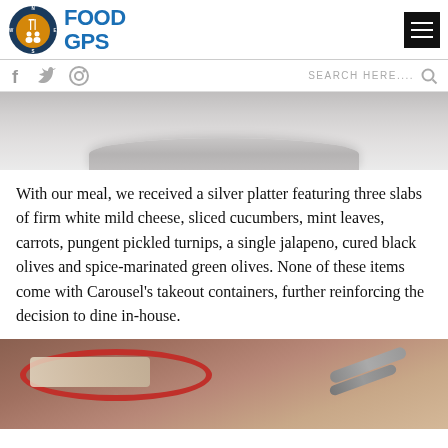FOOD GPS
[Figure (photo): Top portion of a silver platter with food items on a white tablecloth, partially cropped]
With our meal, we received a silver platter featuring three slabs of firm white mild cheese, sliced cucumbers, mint leaves, carrots, pungent pickled turnips, a single jalapeno, cured black olives and spice-marinated green olives. None of these items come with Carousel's takeout containers, further reinforcing the decision to dine in-house.
[Figure (photo): Close-up of a bowl of food with serving tongs visible, partially cropped at bottom of page]